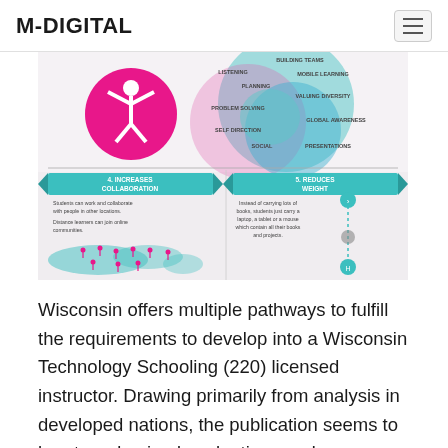M-DIGITAL
[Figure (infographic): Infographic showing benefits of technology in education. Upper half shows circular Venn-like diagram with skills labels: BUILDING TEAMS, LISTENING, MOBILE LEARNING, PLANNING, VALUING DIVERSITY, PROBLEM SOLVING, GLOBAL AWARENESS, SELF DIRECTION, SOCIAL, PRESENTATIONS, with a pink circle containing a person figure with arms raised. Lower half shows two benefit panels: '4. INCREASES COLLABORATION' with text 'Students can work and collaborate with people in other locations. Distance learners can join online communities.' alongside a world map with person icons; '5. REDUCES WEIGHT' with text 'Instead of carrying lots of books, students just carry a laptop, a tablet or a mouse which contain all their books and projects.' alongside an icon with a chain/path graphic.]
Wisconsin offers multiple pathways to fulfill the requirements to develop into a Wisconsin Technology Schooling (220) licensed instructor. Drawing primarily from analysis in developed nations, the publication seems to be at randomized evaluations and